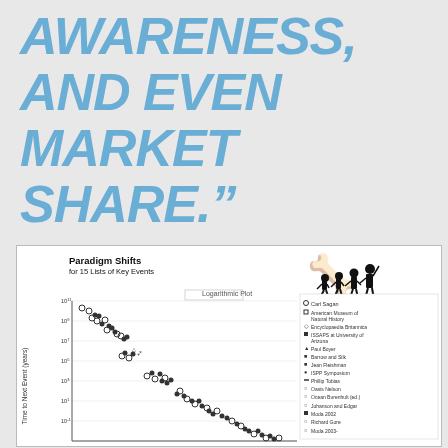AWARENESS, AND EVEN MARKET SHARE."
[Figure (continuous-plot): Scatter plot titled 'Paradigm Shifts for 15 Lists of Key Events' on a logarithmic scale. Y-axis is 'Time to Next Event (years)'. The plot shows a downward trend of data points from upper left to lower right. A legend on the right lists 15 sources including Carl Sagan, American Museum of Natural History, Encyclopaedia Britannica, ISSAPS at University of Arizona, Paul Boyer, Barrow and Silk, Jean Fleishman, ISPP Symposium, Phillip Tobias, Oasis Nelson, Ocean Burenhult (ed.), Johanson and Edgar, Moda 2002, Richard Gore, Moda 2003-. An evolution silhouette graphic appears in the upper right corner of the chart.]